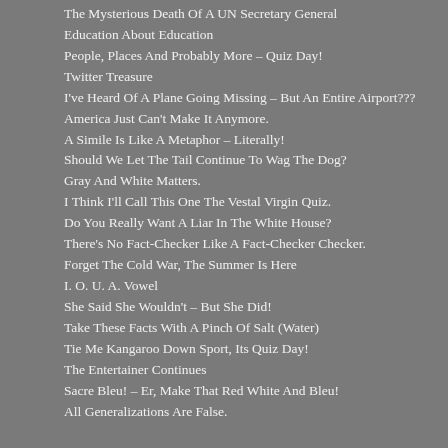The Mysterious Death Of A UN Secretary General
Education About Education
People, Places And Probably More – Quiz Day!
Twitter Treasure
I've Heard Of A Plane Going Missing – But An Entire Airport???
America Just Can't Make It Anymore.
A Simile Is Like A Metaphor – Literally!
Should We Let The Tail Continue To Wag The Dog?
Gray And White Matters.
I Think I'll Call This One The Vestal Virgin Quiz.
Do You Really Want A Liar In The White House?
There's No Fact-Checker Like A Fact-Checker Checker.
Forget The Cold War, The Summer Is Here
I. O. U. A. Vowel
She Said She Wouldn't – But She Did!
Take These Facts With A Pinch Of Salt (Water)
Tie Me Kangaroo Down Sport, Its Quiz Day!
The Entertainer Continues
Sacre Bleu! – Er, Make That Red White And Bleu!
All Generalizations Are False.